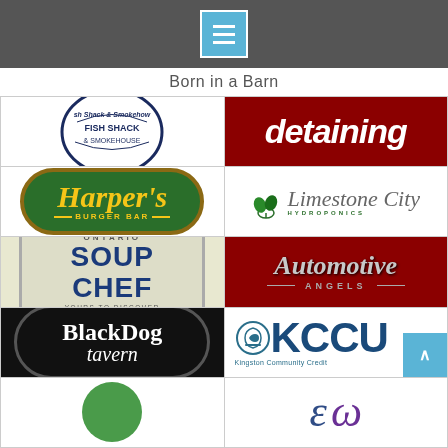Born in a Barn
[Figure (logo): Fish Shack & Smokehouse circular logo, navy blue]
[Figure (logo): Detaining text in white on dark red background]
[Figure (logo): Harper's Burger Bar logo, green pill shape with yellow text]
[Figure (logo): Limestone City Hydroponics logo with green leaf icon]
[Figure (logo): Ontario SOUP CHEF license plate - YOURS TO DISCOVER]
[Figure (logo): Automotive Angels logo on red background, chrome script]
[Figure (logo): Black Dog Tavern oval logo on black background]
[Figure (logo): KCCU Kingston Community Credit Union logo]
[Figure (logo): Partial green circular logo at bottom left]
[Figure (logo): Partial cursive logo at bottom right]